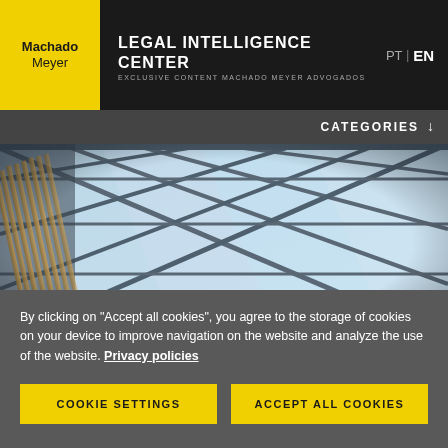Machado Meyer | LEGAL INTELLIGENCE CENTER | EXCLUSIVE CONTENT MACHADO MEYER ADVOGADOS | PT | EN
CATEGORIES
[Figure (photo): Architectural photo of a glass ceiling/skylight with geometric triangular steel frame patterns, looking upward at blue sky through the structure, with wooden vertical slats visible on the left side.]
By clicking on "Accept all cookies", you agree to the storage of cookies on your device to improve navigation on the website and analyze the use of the website. Privacy policies
COOKIE SETTINGS
ACCEPT ALL COOKIES